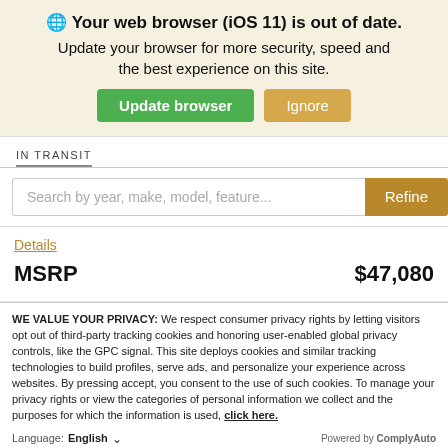🌐 Your web browser (iOS 11) is out of date.
Update your browser for more security, speed and the best experience on this site.
IN TRANSIT
Search by year, make, model, feature...
Details
MSRP  $47,080
WE VALUE YOUR PRIVACY: We respect consumer privacy rights by letting visitors opt out of third-party tracking cookies and honoring user-enabled global privacy controls, like the GPC signal. This site deploys cookies and similar tracking technologies to build profiles, serve ads, and personalize your experience across websites. By pressing accept, you consent to the use of such cookies. To manage your privacy rights or view the categories of personal information we collect and the purposes for which the information is used, click here.
Language: English
Powered by ComplyAuto